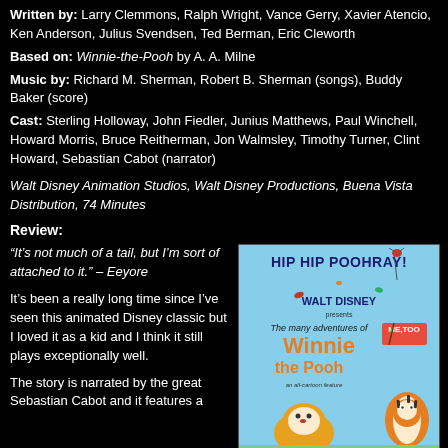Written by: Larry Clemmons, Ralph Wright, Vance Gerry, Xavier Atencio, Ken Anderson, Julius Svendsen, Ted Berman, Eric Cleworth
Based on: Winnie-the-Pooh by A. A. Milne
Music by: Richard M. Sherman, Robert B. Sherman (songs), Buddy Baker (score)
Cast: Sterling Holloway, John Fiedler, Junius Matthews, Paul Winchell, Howard Morris, Bruce Reitherman, Jon Walmsley, Timothy Turner, Clint Howard, Sebastian Cabot (narrator)
Walt Disney Animation Studios, Walt Disney Productions, Buena Vista Distribution, 74 Minutes
Review:
“It’s not much of a tail, but I’m sort of attached to it.” – Eeyore
It’s been a really long time since I’ve seen this animated Disney classic but I loved it as a kid and I think it still plays exceptionally well.
The story is narrated by the great Sebastian Cabot and it features a
[Figure (photo): Movie poster for 'The Many Adventures of Winnie the Pooh' by Walt Disney, showing Hip Hip Pooh Ray! text at top, Winnie the Pooh and Tigger characters, with 'Me Too' sign]